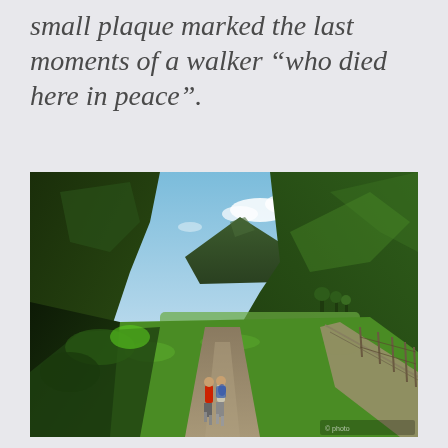small plaque marked the last moments of a walker “who died here in peace”.
[Figure (photo): Two walkers on a gravel path in a green valley surrounded by steep hills and mountains. Stone walls line the right side of the path. Blue sky with light clouds above.]